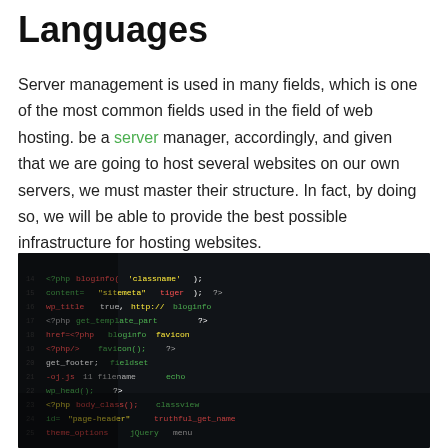Languages
Server management is used in many fields, which is one of the most common fields used in the field of web hosting. be a server manager, accordingly, and given that we are going to host several websites on our own servers, we must master their structure. In fact, by doing so, we will be able to provide the best possible infrastructure for hosting websites.
[Figure (photo): A dark screen showing colorful PHP/HTML code with syntax highlighting in green, red, yellow, and white on a black background, photographed at an angle.]